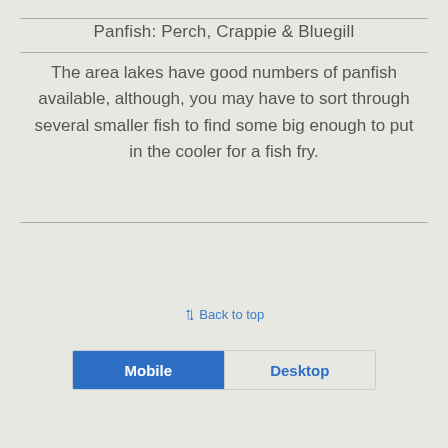Panfish:  Perch, Crappie & Bluegill
The area lakes have good numbers of panfish available, although, you may have to sort through several smaller fish to find some big enough to put in the cooler for a fish fry.
⇑ Back to top
Mobile  Desktop